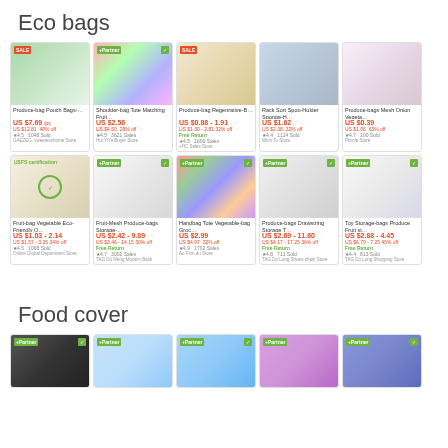Eco bags
[Figure (screenshot): Grid of 10 eco bag product cards with images, titles, prices, ratings, and store names. Row 1: Produce-bag Pouch Bags (US $7.69), Shoulder-bag Tote Matching Fruit... (US $2.56), Produce-bag Regenrative-B... (US $0.88-1.91), Rack Sort Spou-Holder Sponge-H... (US $1.62), Produce-bags Mesh Onion Vegeta... (US $0.39). Row 2: Fruit-bag Vegetable Eco-Friendly O... (US $1.03-2.14), Fruit-Mesh Produce-bags Storage-... (US $2.42-9.89), Handbag Tote Vegetable-bag Groc... (US $2.99), Produce-bags Drawstring Storage T... (US $2.69-11.60), Toy Storage-bags Produce Fruit st... (US $2.88-4.45)]
Food cover
[Figure (screenshot): Partial grid of food cover product cards, showing top portions of 5 product images in blue/purple tones]